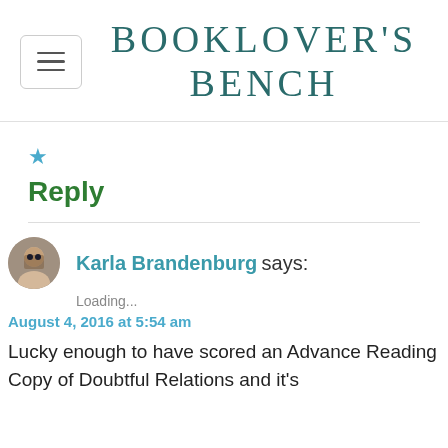BOOKLOVER'S BENCH
★
Reply
Karla Brandenburg says:
Loading...
August 4, 2016 at 5:54 am
Lucky enough to have scored an Advance Reading Copy of Doubtful Relations and it's